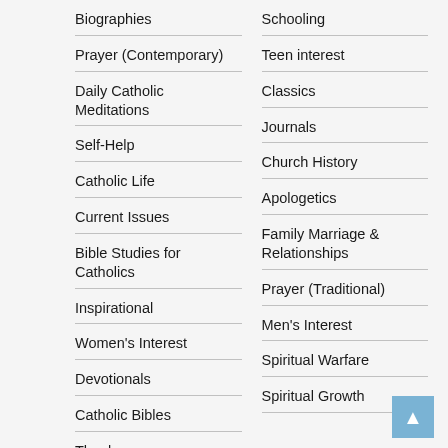Biographies
Prayer (Contemporary)
Daily Catholic Meditations
Self-Help
Catholic Life
Current Issues
Bible Studies for Catholics
Inspirational
Women's Interest
Devotionals
Catholic Bibles
Theology
Schooling
Teen interest
Classics
Journals
Church History
Apologetics
Family Marriage & Relationships
Prayer (Traditional)
Men's Interest
Spiritual Warfare
Spiritual Growth